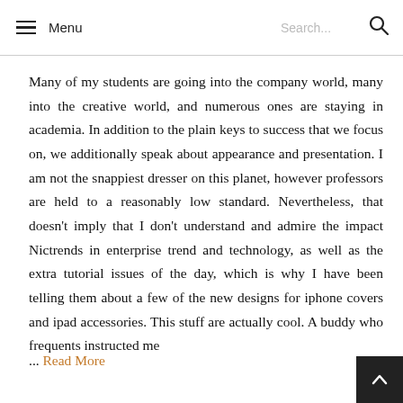Menu | Search...
Many of my students are going into the company world, many into the creative world, and numerous ones are staying in academia. In addition to the plain keys to success that we focus on, we additionally speak about appearance and presentation. I am not the snappiest dresser on this planet, however professors are held to a reasonably low standard. Nevertheless, that doesn't imply that I don't understand and admire the impact Nictrends in enterprise trend and technology, as well as the extra tutorial issues of the day, which is why I have been telling them about a few of the new designs for iphone covers and ipad accessories. This stuff are actually cool. A buddy who frequents instructed me
... Read More